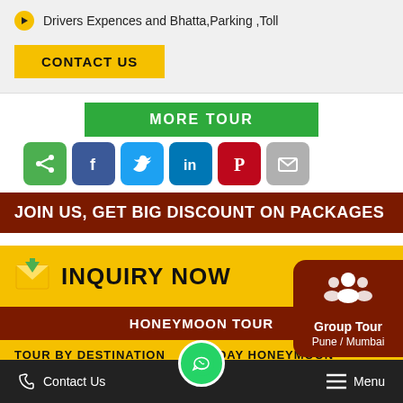Drivers Expences and Bhatta,Parking ,Toll
CONTACT US
MORE TOUR
[Figure (infographic): Social sharing icons row: share (green), Facebook (blue), Twitter (light blue), LinkedIn (dark blue), Pinterest (red), Email (gray)]
JOIN US, GET BIG DISCOUNT ON PACKAGES
INQUIRY NOW
[Figure (infographic): Group Tour card with icon, title 'Group Tour', subtitle 'Pune / Mumbai']
HONEYMOON TOUR
TOUR BY DESTINATION   HOLIDAY HONEYMOON
Contact Us   Menu